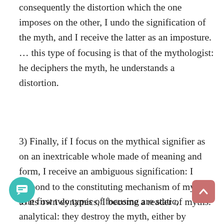consequently the distortion which the one imposes on the other, I undo the signification of the myth, and I receive the latter as an imposture. … this type of focusing is that of the mythologist: he deciphers the myth, he understands a distortion.
3) Finally, if I focus on the mythical signifier as on an inextricable whole made of meaning and form, I receive an ambiguous signification: I respond to the constituting mechanism of myth, to its own dynamics, I become a reader of myths.
The first two types of focusing are static, analytical: they destroy the myth, either by making its intention obvious, or by unmasking it: the former is cynical, the